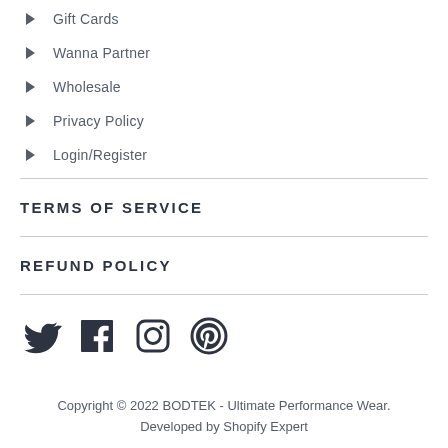Gift Cards
Wanna Partner
Wholesale
Privacy Policy
Login/Register
TERMS OF SERVICE
REFUND POLICY
[Figure (infographic): Social media icons: Twitter, Facebook, Instagram, Pinterest]
Copyright © 2022 BODTEK - Ultimate Performance Wear.
Developed by Shopify Expert